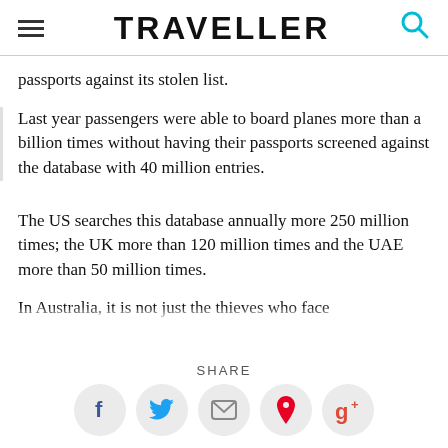TRAVELLER
passports against its stolen list.
Last year passengers were able to board planes more than a billion times without having their passports screened against the database with 40 million entries.
The US searches this database annually more 250 million times; the UK more than 120 million times and the UAE more than 50 million times.
In Australia, it is not just the thieves who face
SHARE